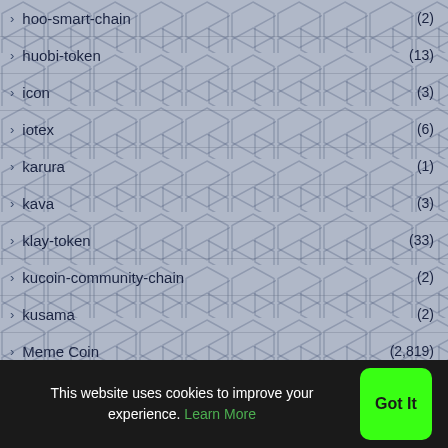> hoo-smart-chain (2)
> huobi-token (13)
> icon (3)
> iotex (6)
> karura (1)
> kava (3)
> klay-token (33)
> kucoin-community-chain (2)
> kusama (2)
> Meme Coin (2,819)
> MetaVerse Crypto (3,231)
> metaverse-etp (1)
This website uses cookies to improve your experience. Learn More